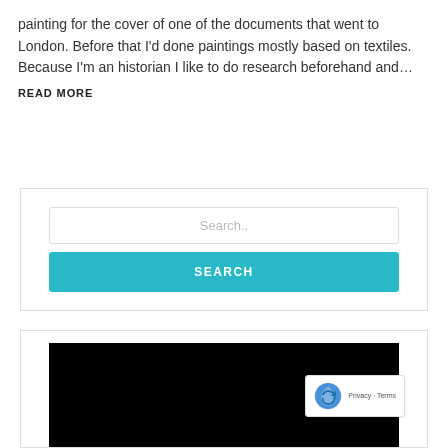painting for the cover of one of the documents that went to London. Before that I'd done paintings mostly based on textiles. Because I'm an historian I like to do research beforehand and…
READ MORE
[Figure (screenshot): Search widget with text input field showing placeholder 'Search..' and a teal SEARCH button below]
[Figure (screenshot): Widget with a black image area and a reCAPTCHA badge overlay in the bottom right showing Privacy - Terms]